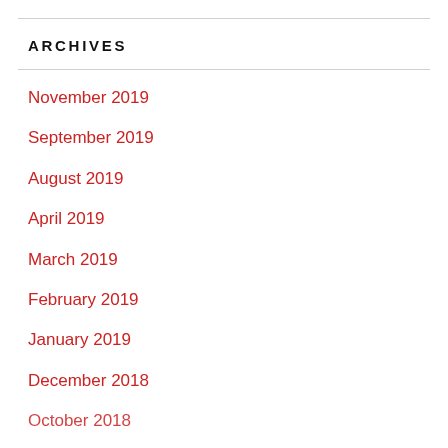ARCHIVES
November 2019
September 2019
August 2019
April 2019
March 2019
February 2019
January 2019
December 2018
October 2018